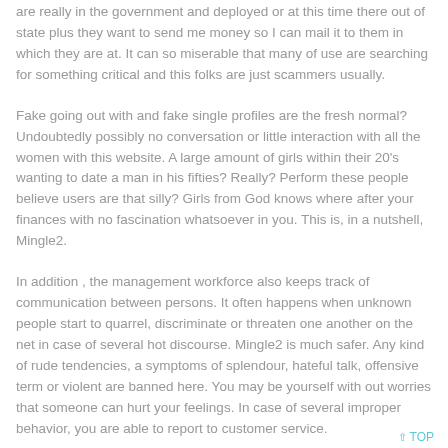are really in the government and deployed or at this time there out of state plus they want to send me money so I can mail it to them in which they are at. It can so miserable that many of use are searching for something critical and this folks are just scammers usually.
Fake going out with and fake single profiles are the fresh normal? Undoubtedly possibly no conversation or little interaction with all the women with this website. A large amount of girls within their 20's wanting to date a man in his fifties? Really? Perform these people believe users are that silly? Girls from God knows where after your finances with no fascination whatsoever in you. This is, in a nutshell, Mingle2.
In addition , the management workforce also keeps track of communication between persons. It often happens when unknown people start to quarrel, discriminate or threaten one another on the net in case of several hot discourse. Mingle2 is much safer. Any kind of rude tendencies, a symptoms of splendour, hateful talk, offensive term or violent are banned here. You may be yourself with out worries that someone can hurt your feelings. In case of several improper behavior, you are able to report to customer service.